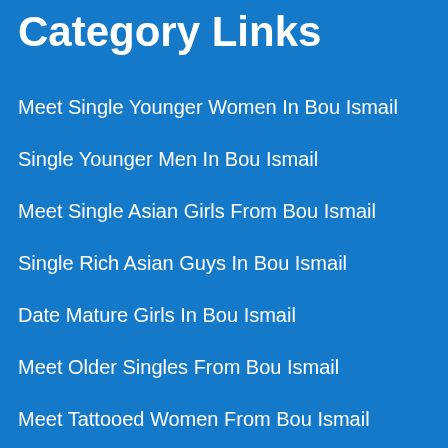Category Links
Meet Single Younger Women In Bou Ismail
Single Younger Men In Bou Ismail
Meet Single Asian Girls From Bou Ismail
Single Rich Asian Guys In Bou Ismail
Date Mature Girls In Bou Ismail
Meet Older Singles From Bou Ismail
Meet Tattooed Women From Bou Ismail
Date Bad Boys In Bou Ismail
Meet Instagram Babes From Bou Ismail